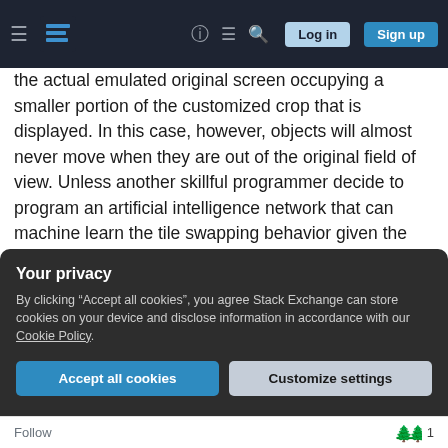Stack Exchange navigation bar with hamburger menu, logo, help, chat, search icons, Log in and Sign up buttons
the actual emulated original screen occupying a smaller portion of the customized crop that is displayed. In this case, however, objects will almost never move when they are out of the original field of view. Unless another skillful programmer decide to program an artificial intelligence network that can machine learn the tile swapping behavior given the character movements and game time as inputs. If so, many objects will move even when they are out of the original screen space as long as the artificial neural network is smart enough to output a logic to
Your privacy
By clicking "Accept all cookies", you agree Stack Exchange can store cookies on your device and disclose information in accordance with our Cookie Policy.
Accept all cookies   Customize settings
Follow   1